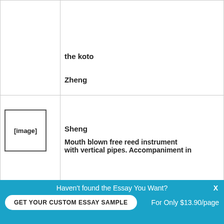| [image] | Name / Description |
| --- | --- |
|  | the koto

Zheng |
| [image] | Sheng

Mouth blown free reed instrument with vertical pipes. Accompaniment in |
Haven't found the Essay You Want?
GET YOUR CUSTOM ESSAY SAMPLE
For Only $13.90/page